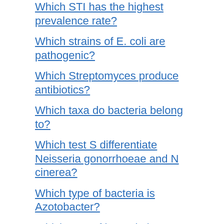Which STI has the highest prevalence rate?
Which strains of E. coli are pathogenic?
Which Streptomyces produce antibiotics?
Which taxa do bacteria belong to?
Which test S differentiate Neisseria gonorrhoeae and N cinerea?
Which type of bacteria is Azotobacter?
Which type of bacteria is Nitrobacter?
Which type of bacteria is Nostoc?
Which type of bacteria is Rhizobium?
Which type of cell division is seen in Nostoc?
Which virus belongs to the rhabdovirus family?
Which viruses belongs to family